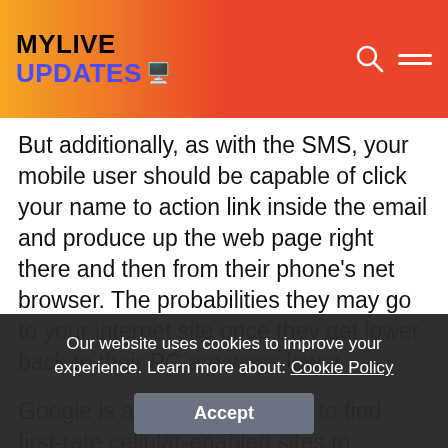MYLIVE UPDATES
But additionally, as with the SMS, your mobile user should be capable of click your name to action link inside the email and produce up the web page right there and then from their phone's net browser. The probabilities they may go to your internet site once they get lower back to their PC are ways lower.
Google is actively attempting to find first-rate cellular-enabled sites to function in its search consequences, on account that that is a massive supply of sales for them if their users are happy. There are not enough cellular
Our website uses cookies to improve your experience. Learn more about: Cookie Policy
Accept